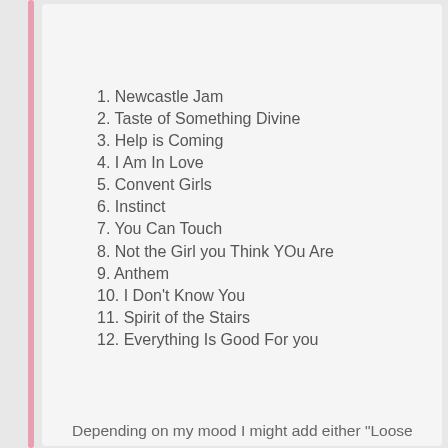1. Newcastle Jam
2. Taste of Something Divine
3. Help is Coming
4. I Am In Love
5. Convent Girls
6. Instinct
7. You Can Touch
8. Not the Girl you Think YOu Are
9. Anthem
10. I Don't Know You
11. Spirit of the Stairs
12. Everything Is Good For you
Depending on my mood I might add either "Loose